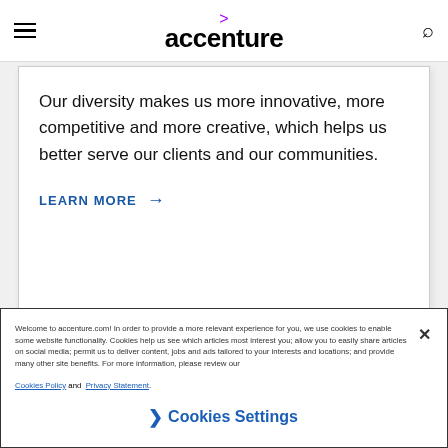accenture
Our diversity makes us more innovative, more competitive and more creative, which helps us better serve our clients and our communities.
LEARN MORE →
Welcome to accenture.com! In order to provide a more relevant experience for you, we use cookies to enable some website functionality. Cookies help us see which articles most interest you; allow you to easily share articles on social media; permit us to deliver content, jobs and ads tailored to your interests and locations; and provide many other site benefits. For more information, please review our Cookies Policy and Privacy Statement.
❯ Cookies Settings